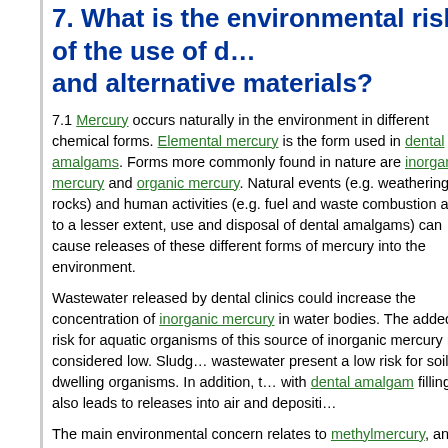7. What is the environmental risk of the use of dental amalgams and alternative materials?
7.1 Mercury occurs naturally in the environment in different chemical forms. Elemental mercury is the form used in dental amalgams. Forms more commonly found in nature are inorganic mercury and organic mercury. Natural events (e.g. weathering of rocks) and human activities (e.g. fuel and waste combustion and, to a lesser extent, use and disposal of dental amalgams) can cause releases of these different forms of mercury into the environment.
Wastewater released by dental clinics could increase the concentration of inorganic mercury in water bodies. The added risk for aquatic organisms of this source of inorganic mercury is considered low. Sludge from wastewater present a low risk for soil-dwelling organisms. In addition, treatment with dental amalgam fillings also leads to releases into air and deposition.
The main environmental concern relates to methylmercury, an organic form that can accumulate in organisms. The levels of methylmercury increase along the food chain age. Some of the mercury released by the use of dental amalgams will eventually become methylmercury. Though estimates are available of the amounts of mercury released by disposal of dental amalgams in the European Union, it is not possible to conclude if the risk associated with organic mercury present in the environment is due to... More...